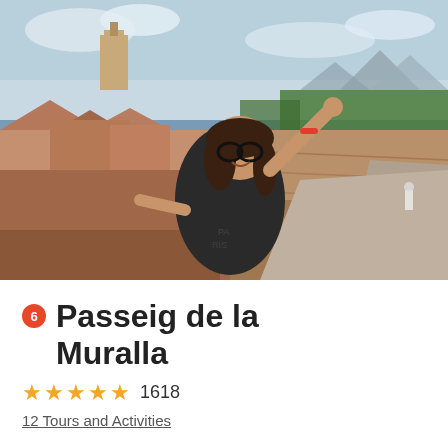[Figure (photo): A woman posing on the Passeig de la Muralla (medieval city walls) in Girona, Spain, with one arm raised in a peace sign. Ancient stone walls, terracotta rooftops, a cathedral tower, trees, and mountains visible in the background.]
6 Passeig de la Muralla
★★★★★ 1618
12 Tours and Activities